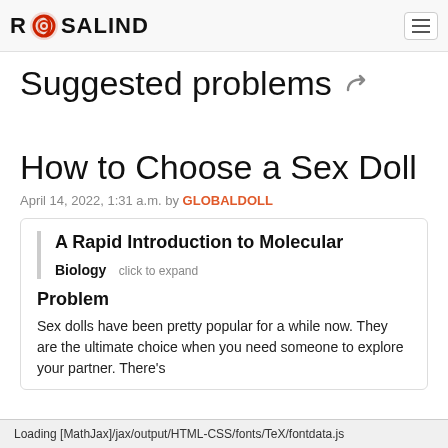ROSALIND
Suggested problems
How to Choose a Sex Doll
April 14, 2022, 1:31 a.m. by GLOBALDOLL
A Rapid Introduction to Molecular Biology   click to expand
Problem
Sex dolls have been pretty popular for a while now. They are the ultimate choice when you need someone to explore your partner. There's
Loading [MathJax]/jax/output/HTML-CSS/fonts/TeX/fontdata.js